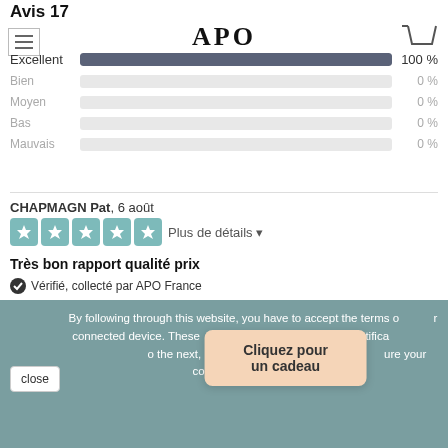Avis 17
[Figure (logo): APO brand logo text]
[Figure (other): Shopping cart icon]
[Figure (infographic): Hamburger menu icon]
| Rating | Bar | Percentage |
| --- | --- | --- |
| Excellent | full | 100 % |
| Bien | empty | 0 % |
| Moyen | empty | 0 % |
| Bas | empty | 0 % |
| Mauvais | empty | 0 % |
CHAPMAGN Pat, 6 août
[Figure (other): 5 teal star rating icons]
Plus de détails
Très bon rapport qualité prix
Vérifié, collecté par APO France
By following through this website, you have to accept the terms of use on your connected device. These files (cookies, profiles) allow browser identification from one session to the next, update your shopping cart, and secure your connection. Learn more
Cliquez pour un cadeau